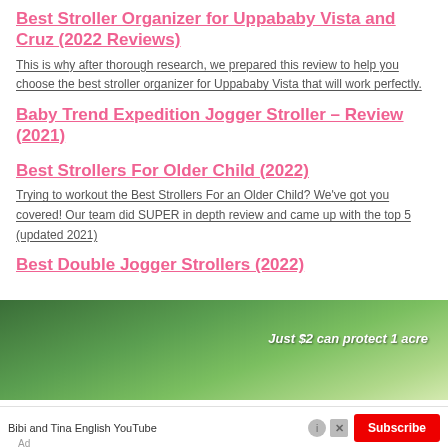Best Stroller Organizer for Uppababy Vista and Cruz (2022 Reviews)
This is why after thorough research, we prepared this review to help you choose the best stroller organizer for Uppababy Vista that will work perfectly.
Baby Trend Expedition Jogger Stroller – Review (2021)
Best Strollers For Older Child (2022)
Trying to workout the Best Strollers For an Older Child? We've got you covered! Our team did SUPER in depth review and came up with the top 5 (updated 2021)
Best Double Jogger Strollers (2022)
[Figure (screenshot): Advertisement banner showing a nature background with text 'Just $2 can protect 1 acre' and a YouTube channel subscription prompt for 'Bibi and Tina English YouTube' with a red Subscribe button and Ad label at bottom.]